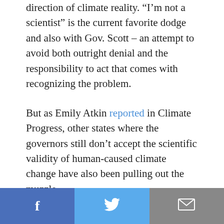direction of climate reality. “I’m not a scientist” is the current favorite dodge and also with Gov. Scott – an attempt to avoid both outright denial and the responsibility to act that comes with recognizing the problem.
But as Emily Atkin reported in Climate Progress, other states where the governors still don’t accept the scientific validity of human-caused climate change have also been pulling out the muzzle.
Pennsylvania’s Department of Conservation and Natural Resources was accused of pulling
[Figure (other): Social share bar with three buttons: Facebook (blue), Twitter (light blue), and Email (gray)]